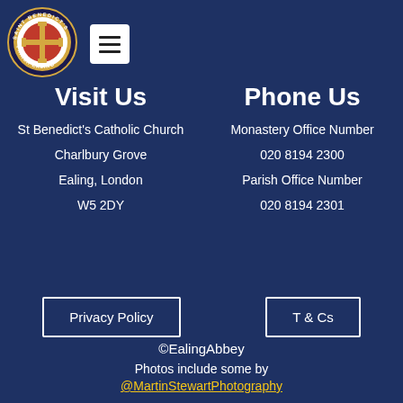[Figure (logo): Saint Benedict's Parish Ealing circular logo with cross emblem]
[Figure (other): Hamburger menu button (three horizontal bars on white background)]
Visit Us
Phone Us
St Benedict's Catholic Church
Monastery Office Number
Charlbury Grove
020 8194 2300
Ealing, London
Parish Office Number
W5 2DY
020 8194 2301
Privacy Policy
T & Cs
©EalingAbbey
Photos include some by @MartinStewartPhotography